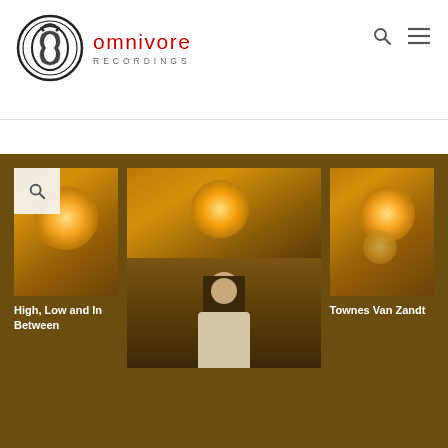[Figure (logo): Omnivore Recordings logo with stylized 'O' containing seahorse motif in black/white, with 'omnivore' in red and 'RECORDINGS' in gray letters]
[Figure (screenshot): Website screenshot showing three album covers on brown background. Left panel: warm amber/orange glowing album cover titled 'High, Low and In Between'. Center: large panel showing person with long dark hair in light shirt. Right panel: similar amber glowing album cover titled 'Townes Van Zandt'. Search icon overlay visible on left panel top-left corner.]